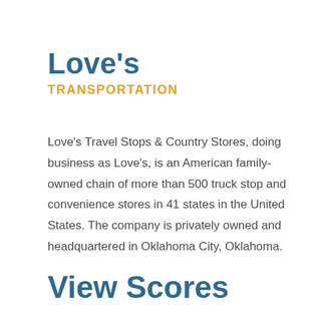Love's
TRANSPORTATION
Love's Travel Stops & Country Stores, doing business as Love's, is an American family-owned chain of more than 500 truck stop and convenience stores in 41 states in the United States. The company is privately owned and headquartered in Oklahoma City, Oklahoma.
View Scores